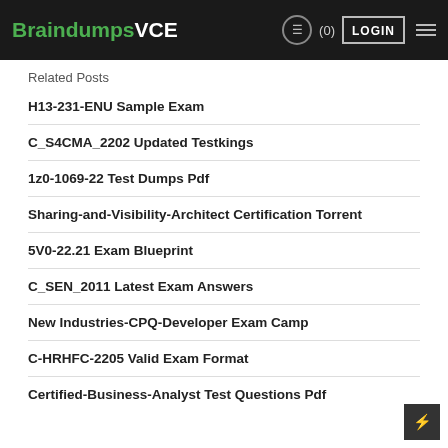BraindumpsVCE (0) LOGIN
Related Posts
H13-231-ENU Sample Exam
C_S4CMA_2202 Updated Testkings
1z0-1069-22 Test Dumps Pdf
Sharing-and-Visibility-Architect Certification Torrent
5V0-22.21 Exam Blueprint
C_SEN_2011 Latest Exam Answers
New Industries-CPQ-Developer Exam Camp
C-HRHFC-2205 Valid Exam Format
Certified-Business-Analyst Test Questions Pdf